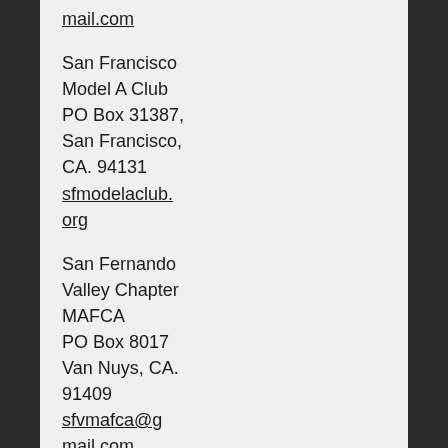mail.com
San Francisco Model A Club
PO Box 31387,
San Francisco,
CA. 94131
sfmodelaclub.org
San Fernando Valley Chapter MAFCA
PO Box 8017
Van Nuys, CA. 91409
sfvmafca@gmail.com
San Fernando Valley Model T